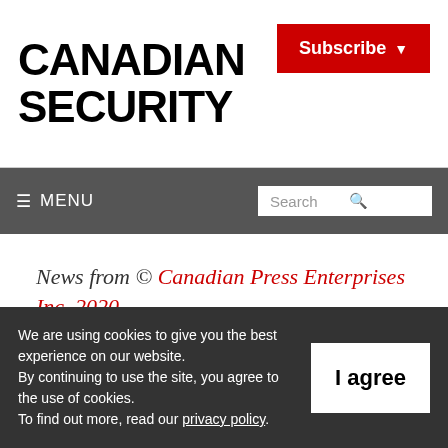CANADIAN SECURITY
Subscribe
☰ MENU | Search
News from © Canadian Press Enterprises Inc. 2020
We are using cookies to give you the best experience on our website. By continuing to use the site, you agree to the use of cookies. To find out more, read our privacy policy.
I agree